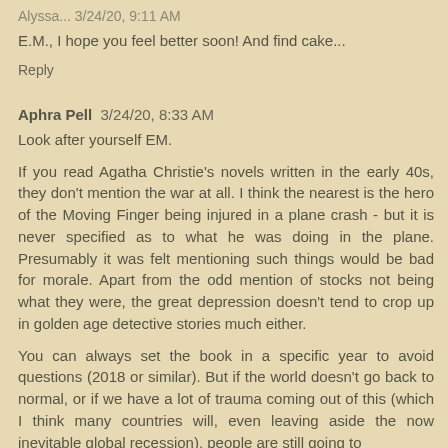Alyssa... 3/24/20, 9:11 AM
E.M., I hope you feel better soon! And find cake...
Reply
Aphra Pell  3/24/20, 8:33 AM
Look after yourself EM.
If you read Agatha Christie's novels written in the early 40s, they don't mention the war at all. I think the nearest is the hero of the Moving Finger being injured in a plane crash - but it is never specified as to what he was doing in the plane. Presumably it was felt mentioning such things would be bad for morale. Apart from the odd mention of stocks not being what they were, the great depression doesn't tend to crop up in golden age detective stories much either.
You can always set the book in a specific year to avoid questions (2018 or similar). But if the world doesn't go back to normal, or if we have a lot of trauma coming out of this (which I think many countries will, even leaving aside the now inevitable global recession), people are still going to